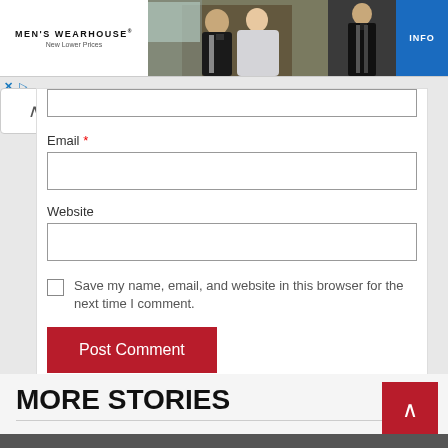[Figure (screenshot): Men's Wearhouse advertisement banner showing a couple in formal attire and a tuxedo, with an INFO button]
Email *
Website
Save my name, email, and website in this browser for the next time I comment.
Post Comment
MORE STORIES